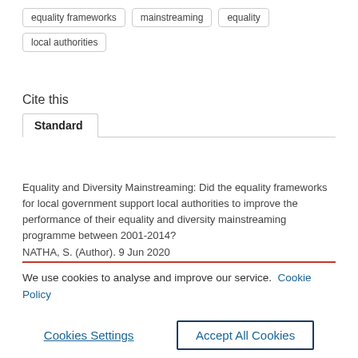equality frameworks
mainstreaming
equality
local authorities
Cite this
Standard
Equality and Diversity Mainstreaming: Did the equality frameworks for local government support local authorities to improve the performance of their equality and diversity mainstreaming programme between 2001-2014?
NATHA, S. (Author). 9 Jun 2020
We use cookies to analyse and improve our service. Cookie Policy
Cookies Settings
Accept All Cookies